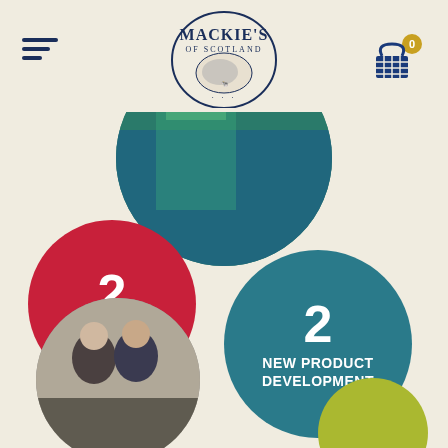[Figure (logo): Mackie's of Scotland logo with cow illustration, navy blue on cream background]
[Figure (infographic): Red circle with large number 2 and text STOREMEN in white]
[Figure (infographic): Teal circle with large number 2 and text NEW PRODUCT DEVELOPMENT in white]
[Figure (photo): Partial circular photo of two people in the bottom left corner]
[Figure (infographic): Partial teal/green circle at top center showing background scene]
[Figure (infographic): Partial yellow-green circle at bottom right]